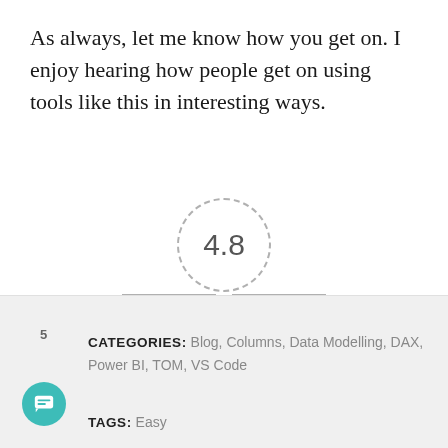As always, let me know how you get on. I enjoy hearing how people get on using tools like this in interesting ways.
[Figure (infographic): Article rating widget showing 4.8 score in a dashed circle, with 'Article Rating' label and 4.5 gold stars below]
CATEGORIES: Blog, Columns, Data Modelling, DAX, Power BI, TOM, VS Code
TAGS: Easy